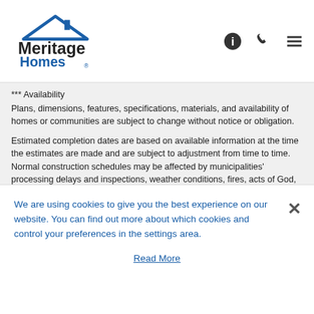Meritage Homes
*** Availability
Plans, dimensions, features, specifications, materials, and availability of homes or communities are subject to change without notice or obligation.
Estimated completion dates are based on available information at the time the estimates are made and are subject to adjustment from time to time. Normal construction schedules may be affected by municipalities' processing delays and inspections, weather conditions, fires, acts of God, the availability of materials and qualified trade contractors, schedule changes, and other factors and, therefore, Meritage does not and cannot guarantee a completion date and Meritage cannot be held responsible for any estimated completion dates that may be made at any time. Further, Meritage assumes no duty to update any such estimates. Meritage's sole responsibility for completion of a home, if any, shall be as provided in the applicable purchase agreement entered into
We are using cookies to give you the best experience on our website. You can find out more about which cookies and control your preferences in the settings area.
Read More